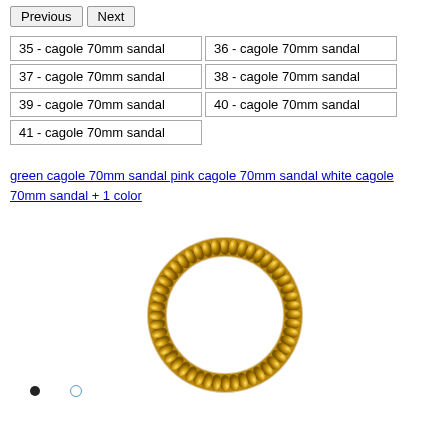Previous | Next
35 - cagole 70mm sandal
36 - cagole 70mm sandal
37 - cagole 70mm sandal
38 - cagole 70mm sandal
39 - cagole 70mm sandal
40 - cagole 70mm sandal
41 - cagole 70mm sandal
green cagole 70mm sandal pink cagole 70mm sandal white cagole 70mm sandal + 1 color
[Figure (photo): Golden braided/coiled ring or bangle bracelet with ridged texture, shown on white background]